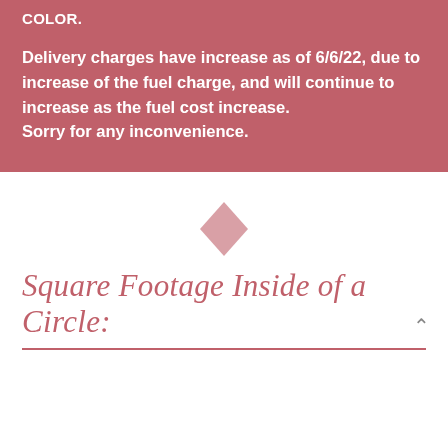COLOR.
Delivery charges have increase as of 6/6/22, due to increase of the fuel charge, and will continue to increase as the fuel cost increase.
Sorry for any inconvenience.
[Figure (illustration): A small pink/rose diamond shape decorative icon centered on the page]
Square Footage Inside of a Circle: